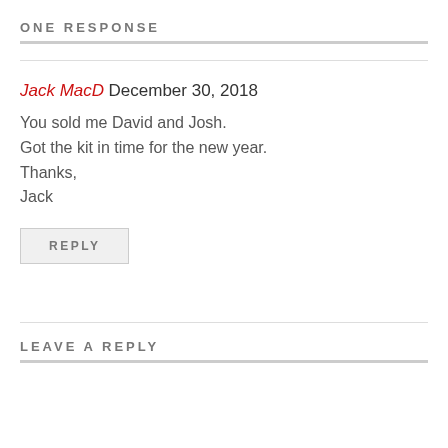ONE RESPONSE
Jack MacD December 30, 2018
You sold me David and Josh.
Got the kit in time for the new year.
Thanks,
Jack
REPLY
LEAVE A REPLY